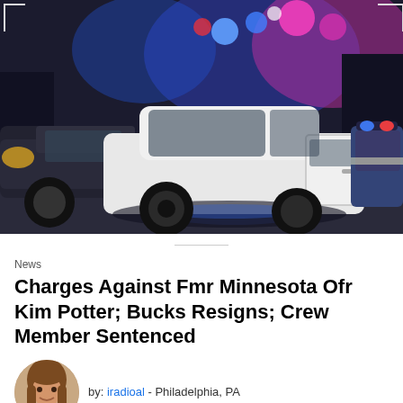[Figure (photo): Night scene with police cars. A white sedan with open door is center frame, flanked by a dark vehicle on the left and a police/emergency vehicle on the right with blue and pink/magenta flashing lights visible in the background.]
News
Charges Against Fmr Minnesota Ofr Kim Potter; Bucks Resigns; Crew Member Sentenced
by: iradioal - Philadelphia, PA